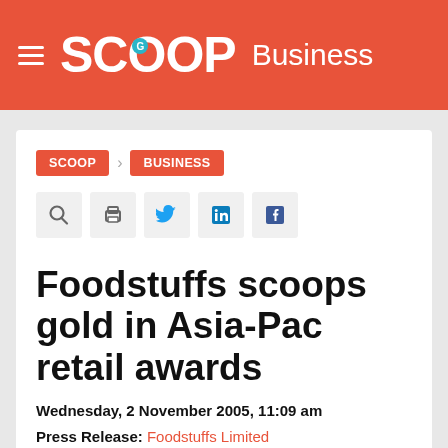SCOOP Business
SCOOP > BUSINESS
Foodstuffs scoops gold in Asia-Pac retail awards
Wednesday, 2 November 2005, 11:09 am
Press Release: Foodstuffs Limited